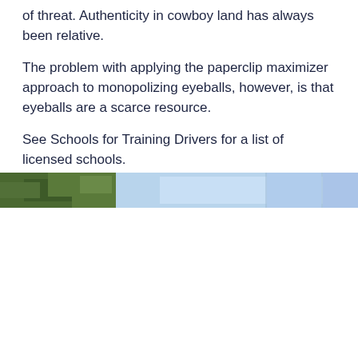of threat. Authenticity in cowboy land has always been relative.
The problem with applying the paperclip maximizer approach to monopolizing eyeballs, however, is that eyeballs are a scarce resource.
See Schools for Training Drivers for a list of licensed schools.
[Figure (photo): A horizontal strip image showing a partial outdoor scene with trees/foliage on the left and light blue sky sections with faint dividing lines across the strip.]